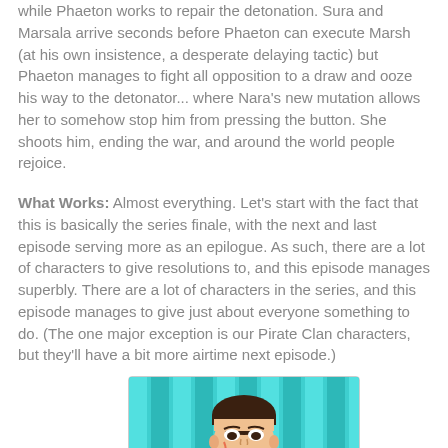while Phaeton works to repair the detonation. Sura and Marsala arrive seconds before Phaeton can execute Marsh (at his own insistence, a desperate delaying tactic) but Phaeton manages to fight all opposition to a draw and ooze his way to the detonator... where Nara's new mutation allows her to somehow stop him from pressing the button. She shoots him, ending the war, and around the world people rejoice.
What Works: Almost everything. Let's start with the fact that this is basically the series finale, with the next and last episode serving more as an epilogue. As such, there are a lot of characters to give resolutions to, and this episode manages superbly. There are a lot of characters in the series, and this episode manages to give just about everyone something to do. (The one major exception is our Pirate Clan characters, but they'll have a bit more airtime next episode.)
[Figure (illustration): Animated character illustration showing a person with dark hair against a teal/cyan striped background, cropped at the bottom of the page]